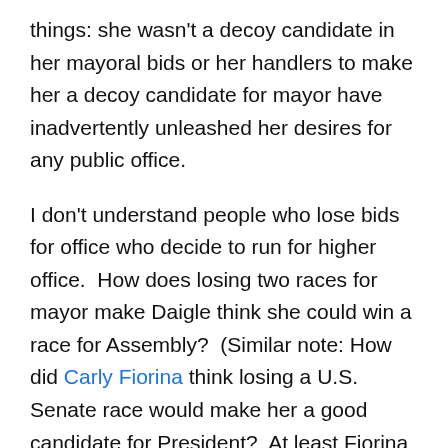things: she wasn't a decoy candidate in her mayoral bids or her handlers to make her a decoy candidate for mayor have inadvertently unleashed her desires for any public office.
I don't understand people who lose bids for office who decide to run for higher office.  How does losing two races for mayor make Daigle think she could win a race for Assembly?  (Similar note: How did Carly Fiorina think losing a U.S. Senate race would make her a good candidate for President?  At least Fiorina finally had the good sense to drop out of the presidential race yesterday.)
Daigle pulling papers combined with Karina Onofre being the sole Democrat to pull papers could well give AD-74 the most bizarre field of challengers for a sitting